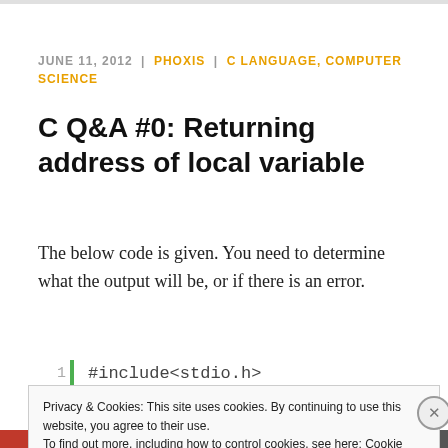JUNE 11, 2012 | PHOXIS | C LANGUAGE, COMPUTER SCIENCE
C Q&A #0: Returning address of local variable
The below code is given. You need to determine what the output will be, or if there is an error.
1 | #include<stdio.h>
Privacy & Cookies: This site uses cookies. By continuing to use this website, you agree to their use.
To find out more, including how to control cookies, see here: Cookie Policy
Close and accept